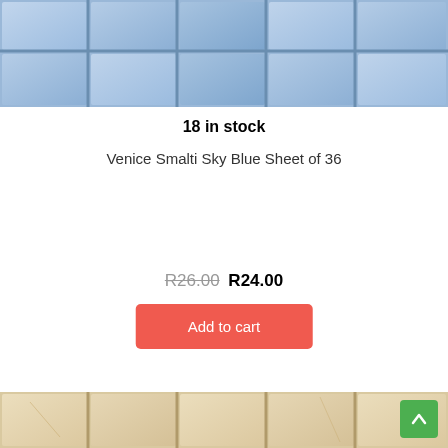[Figure (photo): Close-up photo of blue mosaic tiles (Venice Smalti Sky Blue), arranged in a grid pattern with visible grout lines.]
18 in stock
Venice Smalti Sky Blue Sheet of 36
R26.00 R24.00
Add to cart
[Figure (photo): Close-up photo of cream/ivory colored mosaic tiles arranged in a grid pattern with visible grout lines.]